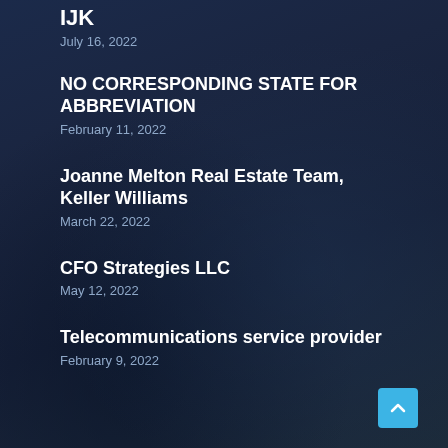IJK
July 16, 2022
NO CORRESPONDING STATE FOR ABBREVIATION
February 11, 2022
Joanne Melton Real Estate Team, Keller Williams
March 22, 2022
CFO Strategies LLC
May 12, 2022
Telecommunications service provider
February 9, 2022